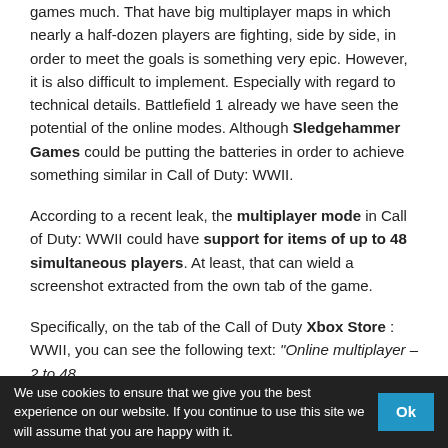games much. That have big multiplayer maps in which nearly a half-dozen players are fighting, side by side, in order to meet the goals is something very epic. However, it is also difficult to implement. Especially with regard to technical details. Battlefield 1 already we have seen the potential of the online modes. Although Sledgehammer Games could be putting the batteries in order to achieve something similar in Call of Duty: WWII.
According to a recent leak, the multiplayer mode in Call of Duty: WWII could have support for items of up to 48 simultaneous players. At least, that can wield a screenshot extracted from the own tab of the game.
Specifically, on the tab of the Call of Duty Xbox Store : WWII, you can see the following text: "Online multiplayer – 2 to 48
We use cookies to ensure that we give you the best experience on our website. If you continue to use this site we will assume that you are happy with it.